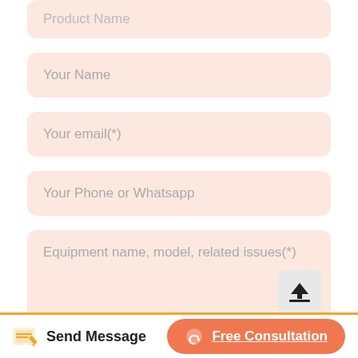Product Name
Your Name
Your email(*)
Your Phone or Whatsapp
Equipment name, model, related issues(*)
Send Message
Free Consultation